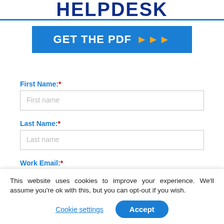HELPDESK
[Figure (other): Blue 'GET THE PDF' button with orange arrow icons]
First Name:*
First name
Last Name:*
Last name
Work Email:*
email@yourdomain.com
This website uses cookies to improve your experience. We'll assume you're ok with this, but you can opt-out if you wish.
Cookie settings
Accept